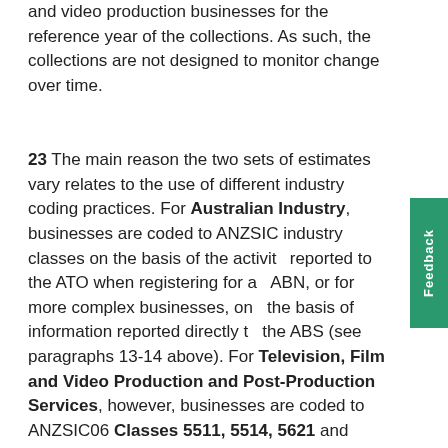and video production businesses for the reference year of the collections. As such, the collections are not designed to monitor change over time.
23 The main reason the two sets of estimates vary relates to the use of different industry coding practices. For Australian Industry, businesses are coded to ANZSIC industry classes on the basis of the activity reported to the ATO when registering for a ABN, or for more complex businesses, on the basis of information reported directly to the ABS (see paragraphs 13-14 above). For Television, Film and Video Production and Post-Production Services, however, businesses are coded to ANZSIC06 Classes 5511, 5514, 5621 and 5622 on the basis of detailed financial data reported in the collection. Adjustments were made to the data to remove the contribution of businesses that were found to be incorrectly